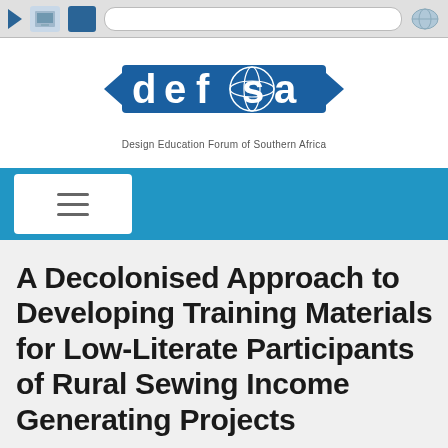[Figure (screenshot): Browser chrome bar with navigation icons and URL bar]
[Figure (logo): DEFSA - Design Education Forum of Southern Africa logo with arrow shapes and blue globe]
[Figure (screenshot): Blue navigation bar with white hamburger menu button on left]
A Decolonised Approach to Developing Training Materials for Low-Literate Participants of Rural Sewing Income Generating Projects